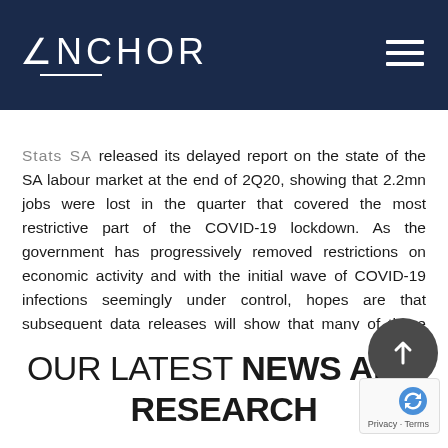ANCHOR
Stats SA released its delayed report on the state of the SA labour market at the end of 2Q20, showing that 2.2mn jobs were lost in the quarter that covered the most restrictive part of the COVID-19 lockdown. As the government has progressively removed restrictions on economic activity and with the initial wave of COVID-19 infections seemingly under control, hopes are that subsequent data releases will show that many of those jobs have been regained in the last two quarters of the year.
OUR LATEST NEWS AND RESEARCH